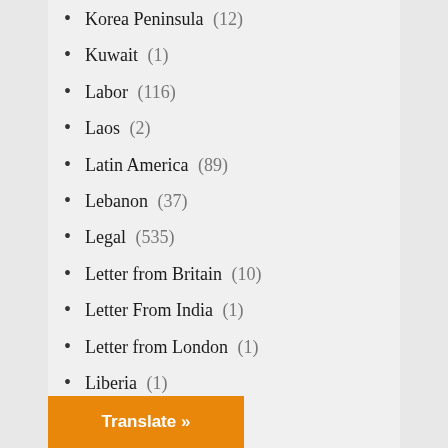Korea Peninsula (12)
Kuwait (1)
Labor (116)
Laos (2)
Latin America (89)
Lebanon (37)
Legal (535)
Letter from Britain (10)
Letter From India (1)
Letter from London (1)
Liberia (1)
Libya (32)
Lobbying (7)
Lost History (1,744)
Madeleine Albright (3)
Mali (7)
Media (2,804)
(133)